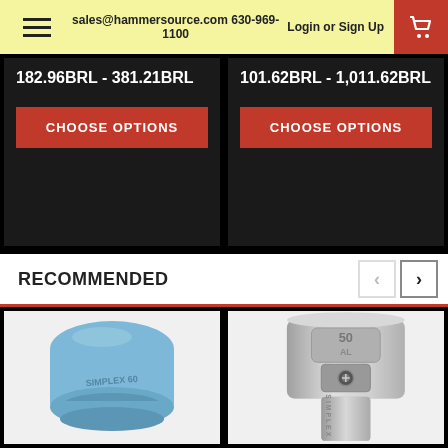sales@hammersource.com 630-969-1100 | Login or Sign Up
182.96BRL - 381.21BRL
CHOOSE OPTIONS
101.62BRL - 1,011.62BRL
CHOOSE OPTIONS
RECOMMENDED
[Figure (photo): Blue Simplex rubber mallet head, cylindrical shape with flat top, light blue color, marked SIMPLEX 60]
[Figure (photo): Silver/chrome Simplex hammer head, metallic with engraved markings 50 AL and SIMPLEX, showing screw mechanism]